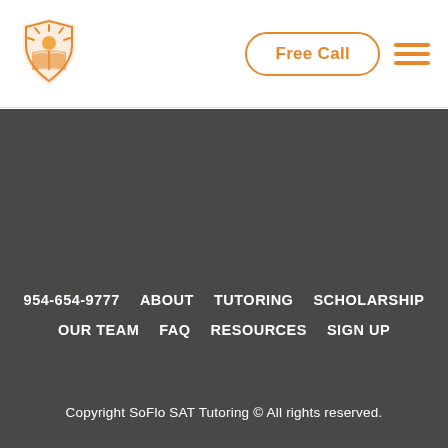[Figure (logo): SoFlo SAT Tutoring logo: sun rays above an open book inside a shield shape, in orange/yellow tones]
Free Call
[Figure (illustration): Hamburger menu icon — three horizontal orange lines]
954-654-9777   ABOUT   TUTORING   SCHOLARSHIP
OUR TEAM   FAQ   RESOURCES   SIGN UP
Copyright SoFlo SAT Tutoring © All rights reserved.